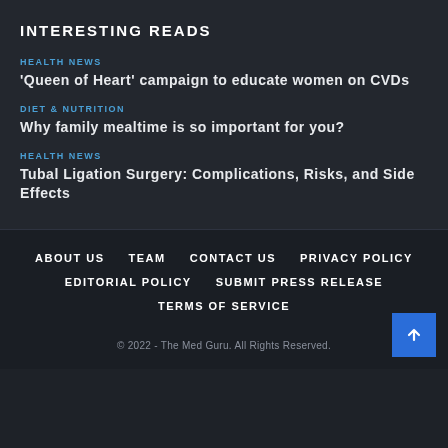INTERESTING READS
HEALTH NEWS
'Queen of Heart' campaign to educate women on CVDs
DIET & NUTRITION
Why family mealtime is so important for you?
HEALTH NEWS
Tubal Ligation Surgery: Complications, Risks, and Side Effects
ABOUT US   TEAM   CONTACT US   PRIVACY POLICY   EDITORIAL POLICY   SUBMIT PRESS RELEASE   TERMS OF SERVICE
© 2022 - The Med Guru. All Rights Reserved.